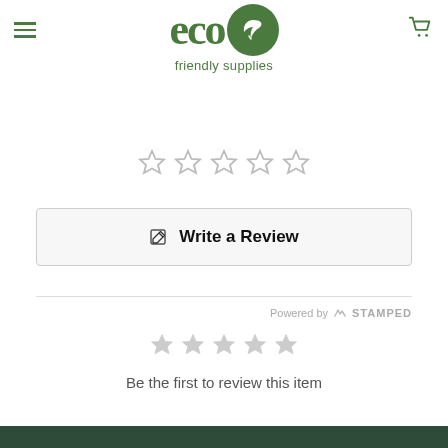[Figure (logo): Eco Friendly Supplies logo: green 'eco' text with a dark green circle containing a leaf/plant icon, and 'friendly supplies' text below]
[Figure (other): Five empty/outline star rating icons]
Write a Review
Powered by STAMPED
[Figure (other): Five gray star rating icons]
Be the first to review this item